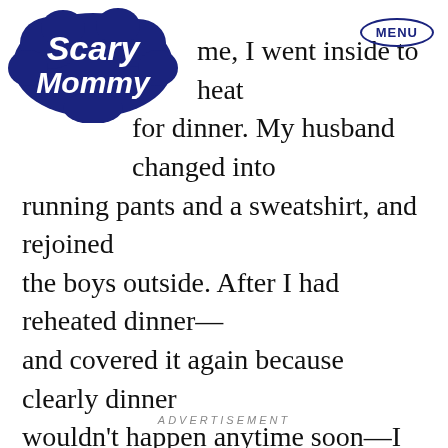[Figure (logo): Scary Mommy logo — bold navy blue bubbly text reading 'Scary Mommy' inside a cloud/speech-bubble shape]
me, I went inside to heat for dinner. My husband changed into running pants and a sweatshirt, and rejoined the boys outside. After I had reheated dinner—and covered it again because clearly dinner wouldn't happen anytime soon—I watched my husband and our sons through the window. I thought about going outside to play with them, but instead I stayed inside and watched them through the window
ADVERTISEMENT